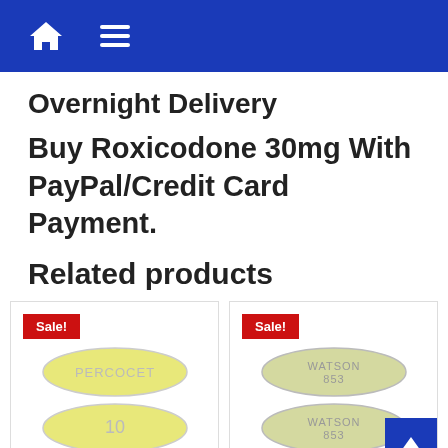Navigation bar with home icon and hamburger menu
Overnight Delivery
Buy Roxicodone 30mg With PayPal/Credit Card Payment.
Related products
[Figure (photo): Product card with 'Sale!' badge showing two yellow oval Percocet 10mg tablets]
[Figure (photo): Product card with 'Sale!' badge showing two pale green oval Watson 853 tablets, with blue scroll-to-top arrow button overlay]